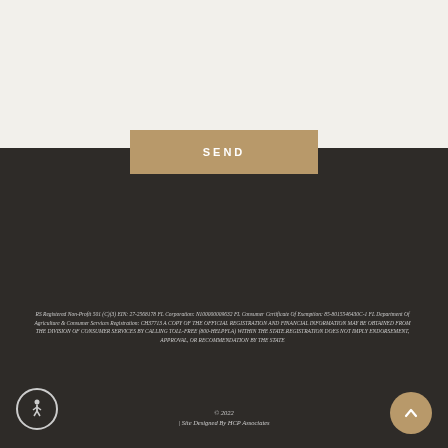[Figure (other): Light beige/cream colored top section background]
SEND
RS Registered Non-Profit 501 (C)(3) EIN: 27-2568178 FL Corporation: N100000009632 FL Consumer Certificate Of Exemption: 85-8015546430C-1 FL Department Of Agriculture & Consumer Services Registration: CH37713 A COPY OF THE OFFICIAL REGISTRATION AND FINANCIAL INFORMATION MAY BE OBTAINED FROM THE DIVISION OF CONSUMER SERVICES BY CALLING TOLL-FREE (800-HELPFLA) WITHIN THE STATE.REGISTRATION DOES NOT IMPLY ENDORSEMENT, APPROVAL, OR RECOMMENDATION BY THE STATE
© 2022
| Site Designed By HCP Associates